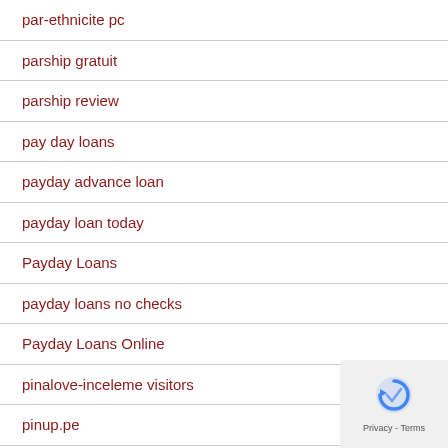par-ethnicite pc
parship gratuit
parship review
pay day loans
payday advance loan
payday loan today
Payday Loans
payday loans no checks
Payday Loans Online
pinalove-inceleme visitors
pinup.pe
plano the escort
plenty-of-fish-inceleme visitors